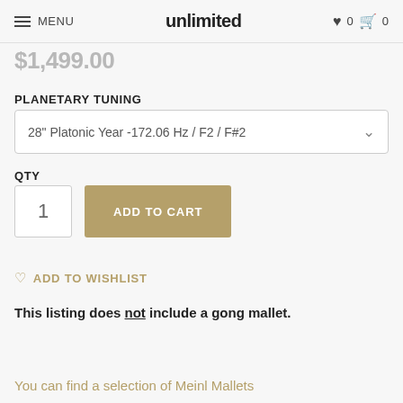≡ MENU | unlimited | ♥ 0 🛒 0
$1,499.00
PLANETARY TUNING
28" Platonic Year -172.06 Hz / F2 / F#2
QTY
1
ADD TO CART
ADD TO WISHLIST
This listing does not include a gong mallet.
You can find a selection of Meinl Mallets